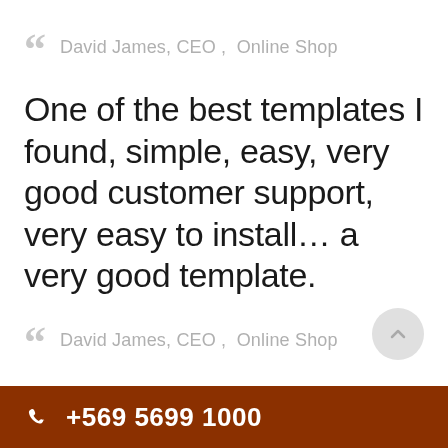David James, CEO ,  Online Shop
One of the best templates I found, simple, easy, very good customer support, very easy to install… a very good template.
David James, CEO ,  Online Shop
+569 5699 1000